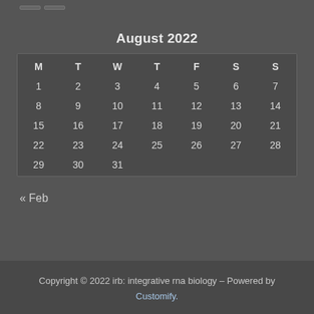August 2022
| M | T | W | T | F | S | S |
| --- | --- | --- | --- | --- | --- | --- |
| 1 | 2 | 3 | 4 | 5 | 6 | 7 |
| 8 | 9 | 10 | 11 | 12 | 13 | 14 |
| 15 | 16 | 17 | 18 | 19 | 20 | 21 |
| 22 | 23 | 24 | 25 | 26 | 27 | 28 |
| 29 | 30 | 31 |  |  |  |  |
« Feb
Copyright © 2022 irb: integrative rna biology – Powered by Customify.